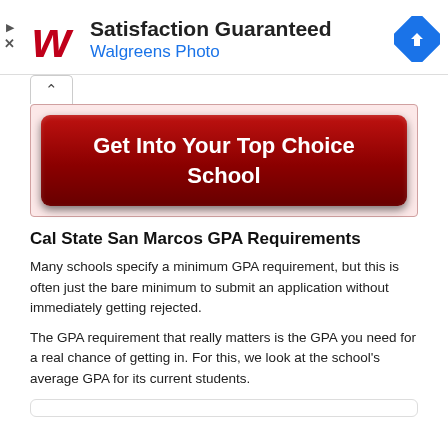[Figure (logo): Walgreens and ad banner with logo, 'Satisfaction Guaranteed', 'Walgreens Photo', blue arrow icon]
[Figure (other): Red button with text 'Get Into Your Top Choice School']
Cal State San Marcos GPA Requirements
Many schools specify a minimum GPA requirement, but this is often just the bare minimum to submit an application without immediately getting rejected.
The GPA requirement that really matters is the GPA you need for a real chance of getting in. For this, we look at the school's average GPA for its current students.